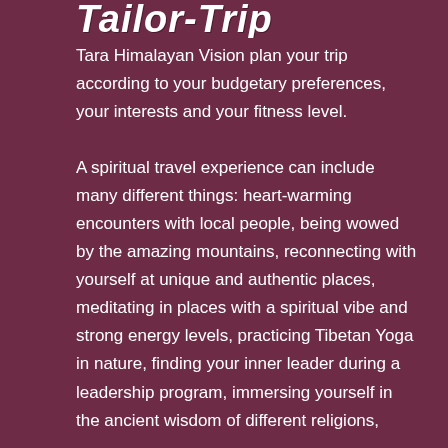Tailor-Trip
Tara Himalayan Vision plan your trip according to your budgetary preferences, your interests and your fitness level.
A spiritual travel experience can include many different things: heart-warming encounters with local people, being wowed by the amazing mountains, reconnecting with yourself at unique and authentic places, meditating in places with a spiritual vibe and strong energy levels, practicing Tibetan Yoga in nature, finding your inner leader during a leadership program, immersing yourself in the ancient wisdom of different religions,